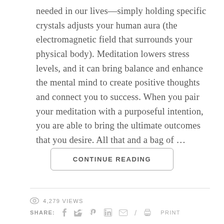needed in our lives—simply holding specific crystals adjusts your human aura (the electromagnetic field that surrounds your physical body). Meditation lowers stress levels, and it can bring balance and enhance the mental mind to create positive thoughts and connect you to success. When you pair your meditation with a purposeful intention, you are able to bring the ultimate outcomes that you desire. All that and a bag of …
CONTINUE READING
4,279 VIEWS
SHARE: f  Twitter  Pinterest  LinkedIn  Email  /  Print  PRINT